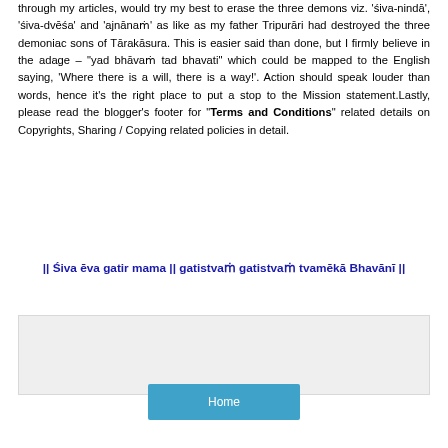through my articles, would try my best to erase the three demons viz. 'śiva-nindā', 'śiva-dvēśa' and 'ajnānaṁ' as like as my father Tripurāri had destroyed the three demoniac sons of Tārakāsura. This is easier said than done, but I firmly believe in the adage – "yad bhāvaṁ tad bhavati" which could be mapped to the English saying, 'Where there is a will, there is a way!'. Action should speak louder than words, hence it's the right place to put a stop to the Mission statement.Lastly, please read the blogger's footer for "Terms and Conditions" related details on Copyrights, Sharing / Copying related policies in detail.
|| Śiva ēva gatir mama || gatistvaṁ gatistvaṁ tvamēkā Bhavānī ||
[Figure (other): Gray/light background box (empty comment or widget area)]
Home